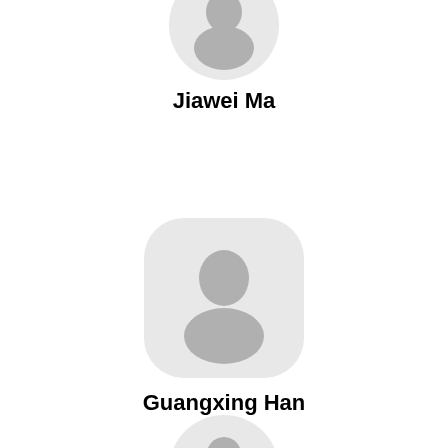[Figure (illustration): Circular default avatar placeholder (partially visible at top) for Jiawei Ma]
Jiawei Ma
[Figure (illustration): Rounded square default avatar placeholder with generic person silhouette for Guangxing Han]
Guangxing Han
[Figure (illustration): Circular default avatar placeholder (partially visible at bottom) for next person]